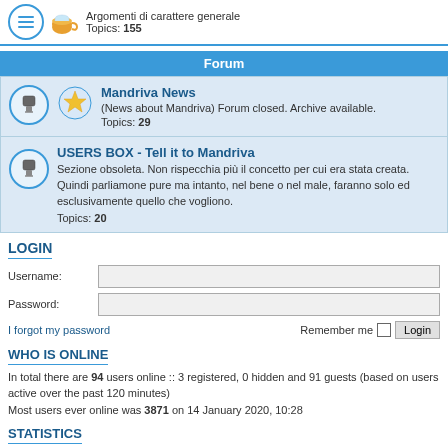Argomenti di carattere generale
Topics: 155
Forum
Mandriva News
(News about Mandriva) Forum closed. Archive available.
Topics: 29
USERS BOX - Tell it to Mandriva
Sezione obsoleta. Non rispecchia più il concetto per cui era stata creata. Quindi parliamone pure ma intanto, nel bene o nel male, faranno solo ed esclusivamente quello che vogliono.
Topics: 20
LOGIN
Username:
Password:
I forgot my password
Remember me
WHO IS ONLINE
In total there are 94 users online :: 3 registered, 0 hidden and 91 guests (based on users active over the past 120 minutes)
Most users ever online was 3871 on 14 January 2020, 10:28
STATISTICS
Total posts 23937 • Total topics 4258 • Total members 758 • Our newest member johnodam99